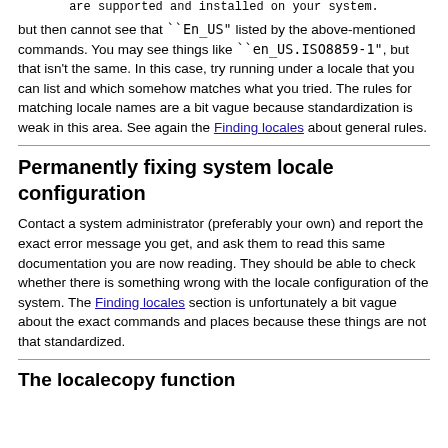are supported and installed on your system.
but then cannot see that ``En_US" listed by the above-mentioned commands. You may see things like ``en_US.ISO8859-1", but that isn't the same. In this case, try running under a locale that you can list and which somehow matches what you tried. The rules for matching locale names are a bit vague because standardization is weak in this area. See again the Finding locales about general rules.
Permanently fixing system locale configuration
Contact a system administrator (preferably your own) and report the exact error message you get, and ask them to read this same documentation you are now reading. They should be able to check whether there is something wrong with the locale configuration of the system. The Finding locales section is unfortunately a bit vague about the exact commands and places because these things are not that standardized.
The localecopy function